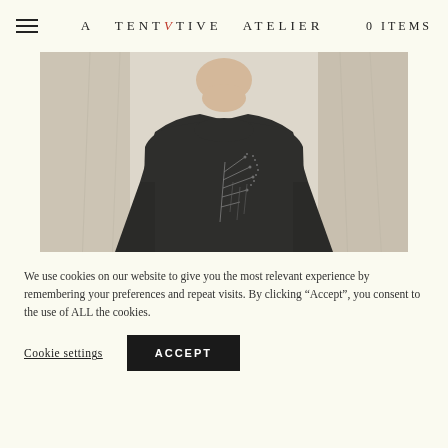A TENTATIVE ATELIER 0 ITEMS
[Figure (photo): Fashion photo of a person wearing a dark charcoal sweatshirt with an abstract branch/tree embroidery design, against a light draped fabric background. Face cropped at chin level.]
We use cookies on our website to give you the most relevant experience by remembering your preferences and repeat visits. By clicking “Accept”, you consent to the use of ALL the cookies.
Cookie settings  ACCEPT